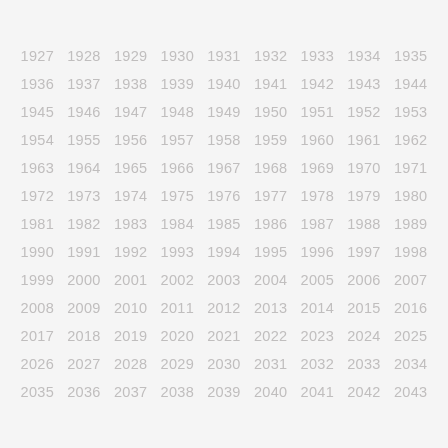1927 1928 1929 1930 1931 1932 1933 1934 1935 1936 1937 1938 1939 1940 1941 1942 1943 1944 1945 1946 1947 1948 1949 1950 1951 1952 1953 1954 1955 1956 1957 1958 1959 1960 1961 1962 1963 1964 1965 1966 1967 1968 1969 1970 1971 1972 1973 1974 1975 1976 1977 1978 1979 1980 1981 1982 1983 1984 1985 1986 1987 1988 1989 1990 1991 1992 1993 1994 1995 1996 1997 1998 1999 2000 2001 2002 2003 2004 2005 2006 2007 2008 2009 2010 2011 2012 2013 2014 2015 2016 2017 2018 2019 2020 2021 2022 2023 2024 2025 2026 2027 2028 2029 2030 2031 2032 2033 2034 2035 2036 2037 2038 2039 2040 2041 2042 2043